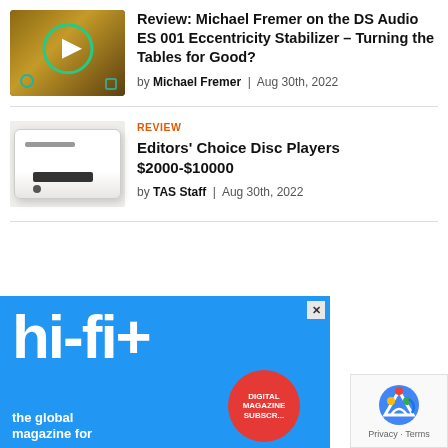[Figure (photo): Thumbnail showing a YouTube-style play button on a dark/brown background with a teal gear/settings icon in lower left]
Review: Michael Fremer on the DS Audio ES 001 Eccentricity Stabilizer – Turning the Tables for Good?
by Michael Fremer | Aug 30th, 2022
[Figure (photo): White disc player / CD transport device on light background]
REVIEW
Editors' Choice Disc Players $2000-$10000
by TAS Staff | Aug 30th, 2022
[Figure (illustration): hi-fi+ magazine advertisement banner with blue background, large white hi-fi+ logo text, red circular badge reading DIGITAL MAGAZINE SUBSCR... and text 'the global magazine for']